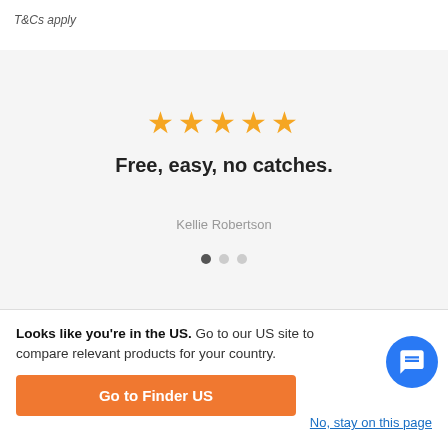T&Cs apply
[Figure (infographic): Five gold stars rating display with tagline 'Free, easy, no catches.' and reviewer name 'Kellie Robertson', with three carousel dots below]
Looks like you're in the US. Go to our US site to compare relevant products for your country.
Go to Finder US
No, stay on this page